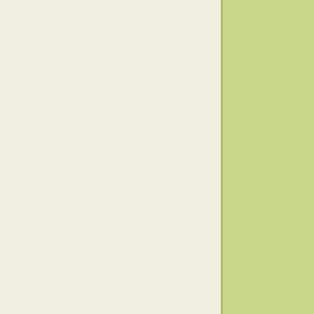[Figure (photo): Interior of a large ornate building/theater with arched ceilings, stage lighting, audience members visible in the lower portion, dark theatrical setting with green architectural details]
November 16th, 2010
Categories: Fencing Artistic ,